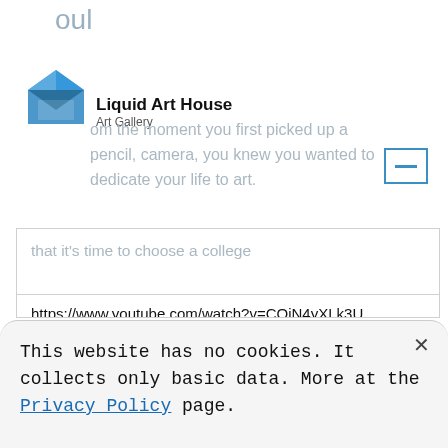oul
[Figure (logo): Liquid Art House logo - blue envelope/house icon with text 'Liquid Art House' and subtitle 'Art Gallery']
from the moment you first picked up a pencil, camera, you knew you wanted to dedicate your life to art.
https://www.youtube.com/watch?v=COiN4yXLk3U
Preparing for an Art School Perhaps you grew up with parents who were artists, or maybe a high school teacher sparked your passion. But now that it’s time to choose a college […]
This website has no cookies. It collects only basic data. More at the Privacy Policy page.